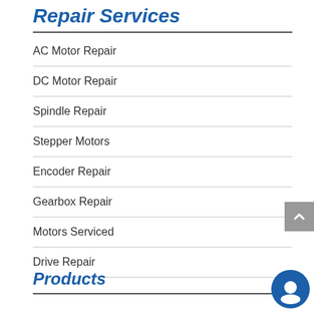Repair Services
AC Motor Repair
DC Motor Repair
Spindle Repair
Stepper Motors
Encoder Repair
Gearbox Repair
Motors Serviced
Drive Repair
Products